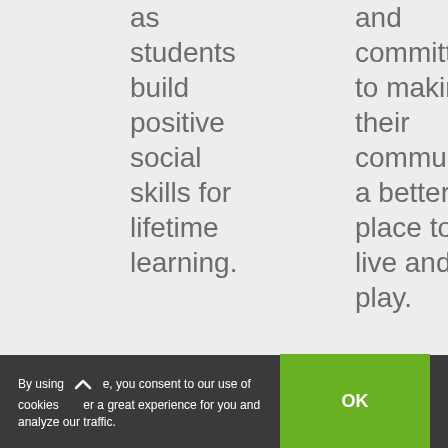as students build positive social skills for lifetime learning.
and committed to making their community a better place to live and play.
By using this site, you consent to our use of cookies to deliver a great experience for you and analyze our traffic.